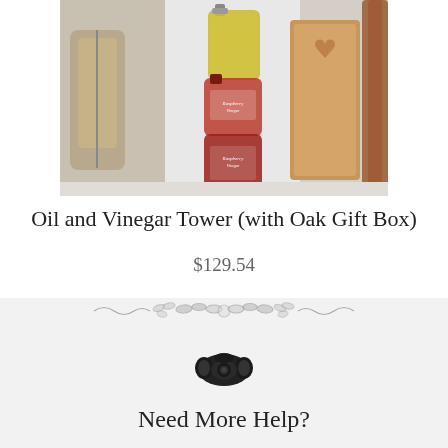[Figure (photo): Product photo showing oil and vinegar tower bottles with an oak gift box on a windowsill]
Oil and Vinegar Tower (with Oak Gift Box)
$129.54
[Figure (illustration): Decorative divider with ornamental leaf/scroll design in grey]
[Figure (illustration): Black vintage telephone icon]
Need More Help?